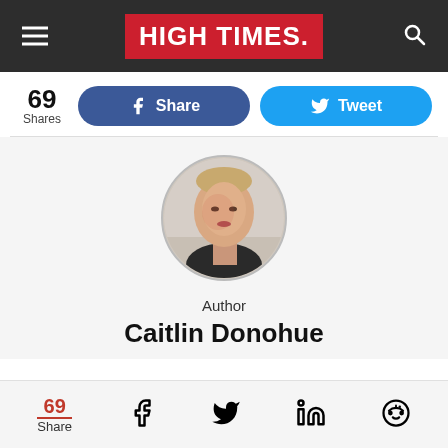HIGH TIMES
69 Shares
Share
Tweet
[Figure (photo): Circular author headshot of Caitlin Donohue, a woman with short blonde hair wearing a dark top, against a light background.]
Author
Caitlin Donohue
69 Share